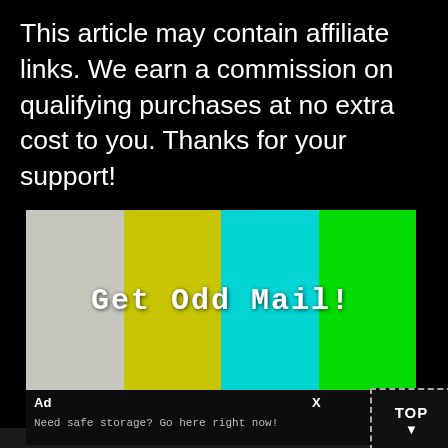This article may contain affiliate links. We earn a commission on qualifying purchases at no extra cost to you. Thanks for your support!
[Figure (illustration): TV color bar test pattern with four vertical stripes (light gray/white, yellow, cyan, bright green) and white bold monospace text 'Get Odd Mail!' centered on top]
Ad
X
Need safe storage? Go here right now!
TOP